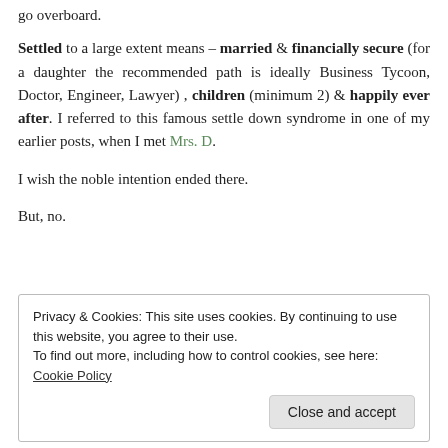go overboard.
Settled to a large extent means – married & financially secure (for a daughter the recommended path is ideally Business Tycoon, Doctor, Engineer, Lawyer) , children (minimum 2) & happily ever after. I referred to this famous settle down syndrome in one of my earlier posts, when I met Mrs. D.
I wish the noble intention ended there.
But, no.
Privacy & Cookies: This site uses cookies. By continuing to use this website, you agree to their use.
To find out more, including how to control cookies, see here: Cookie Policy